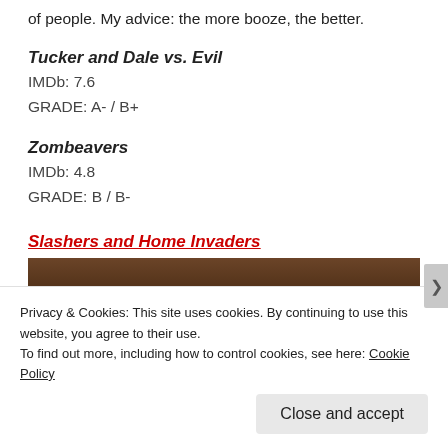of people. My advice: the more booze, the better.
Tucker and Dale vs. Evil
IMDb: 7.6
GRADE: A- / B+
Zombeavers
IMDb: 4.8
GRADE: B / B-
Slashers and Home Invaders
[Figure (photo): Dark wooden interior scene, partial view of a person with dark hair on the right side]
Privacy & Cookies: This site uses cookies. By continuing to use this website, you agree to their use.
To find out more, including how to control cookies, see here: Cookie Policy
Close and accept